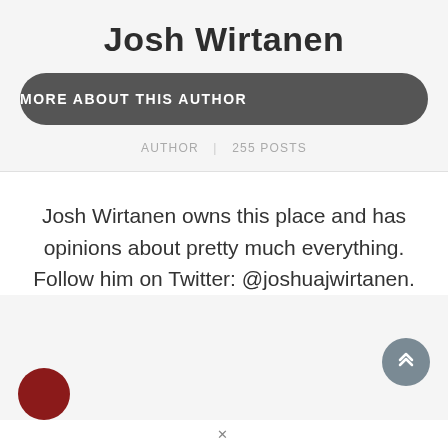Josh Wirtanen
MORE ABOUT THIS AUTHOR
AUTHOR | 255 POSTS
Josh Wirtanen owns this place and has opinions about pretty much everything. Follow him on Twitter: @joshuajwirtanen.